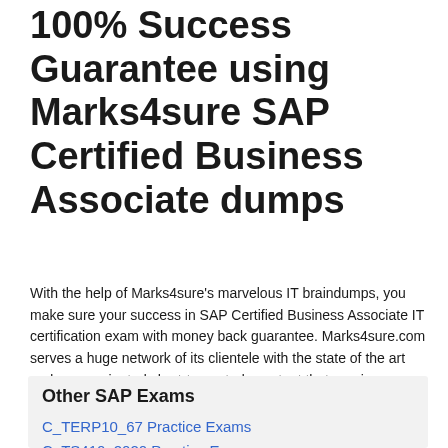100% Success Guarantee using Marks4sure SAP Certified Business Associate dumps
With the help of Marks4sure's marvelous IT braindumps, you make sure your success in SAP Certified Business Associate IT certification exam with money back guarantee. Marks4sure.com serves a huge network of its clientele with the state of the art and exam-oriented short-term study content that requires as little as a two-week time to get ready the entire SAP Certified Business Associate certification syllabus.
Other SAP Exams
C_TERP10_67 Practice Exams
C_TS410_2020 Practice Exams
C_S4FCF_2021 Practice Exams
C_DS_42 Practice Exams